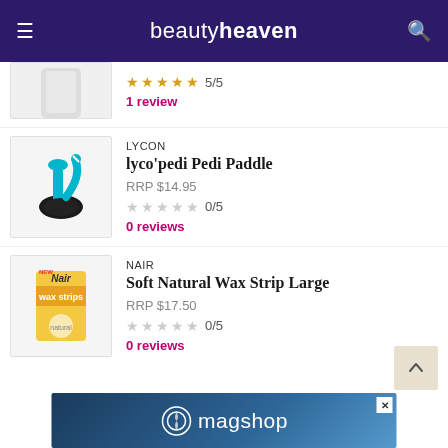beautyheaven
★★★★★ 5/5
1 review
LYCON
lyco'pedi Pedi Paddle
RRP $14.95
☆☆☆☆☆ 0/5
0 reviews
Nair
Soft Natural Wax Strip Large
RRP $17.50
☆☆☆☆☆ 0/5
0 reviews
[Figure (screenshot): Ad banner for magshop with dark blue gradient background]